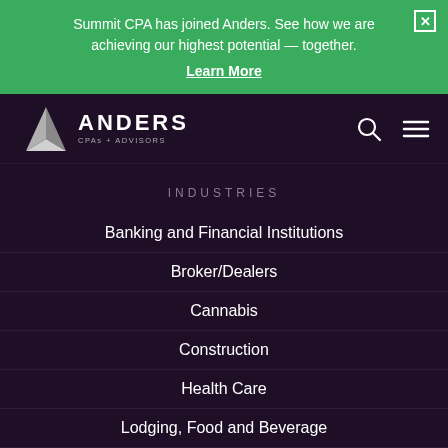Summit CPA has joined Anders. See how we are achieving our highest potential — together.
Learn More
[Figure (logo): Anders CPAs + Advisors logo with triangular silver icon and navigation bar on dark purple background]
INDUSTRIES
Banking and Financial Institutions
Broker/Dealers
Cannabis
Construction
Health Care
Lodging, Food and Beverage